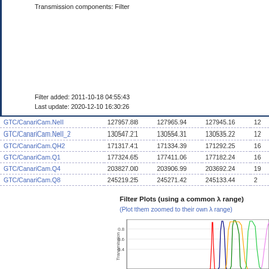Transmission components: Filter
Filter added: 2011-10-18 04:55:43
Last update: 2020-12-10 16:30:26
|  |  |  |  |  |
| --- | --- | --- | --- | --- |
| GTC/CanariCam.NeII | 127957.88 | 127965.94 | 127945.16 | 1... |
| GTC/CanariCam.NeII_2 | 130547.21 | 130554.31 | 130535.22 | 1... |
| GTC/CanariCam.QH2 | 171317.41 | 171334.39 | 171292.25 | 1... |
| GTC/CanariCam.Q1 | 177324.65 | 177411.06 | 177182.24 | 1... |
| GTC/CanariCam.Q4 | 203827.00 | 203906.99 | 203692.24 | 1... |
| GTC/CanariCam.Q8 | 245219.25 | 245271.42 | 245133.44 | 2... |
Filter Plots (using a common λ range)
(Plot them zoomed to their own λ range)
[Figure (continuous-plot): Transmission vs wavelength plot showing multiple colored filter curves (red, blue, green, yellow/orange, and others) with transmission values shown on y-axis (0.4, 0.6, 0.8) for GTC/CanariCam filters]